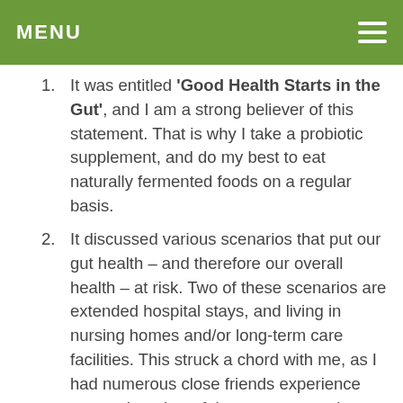MENU
It was entitled 'Good Health Starts in the Gut', and I am a strong believer of this statement. That is why I take a probiotic supplement, and do my best to eat naturally fermented foods on a regular basis.
It discussed various scenarios that put our gut health – and therefore our overall health – at risk. Two of these scenarios are extended hospital stays, and living in nursing homes and/or long-term care facilities. This struck a chord with me, as I had numerous close friends experience one or the other of these two scenarios over the past month or so.